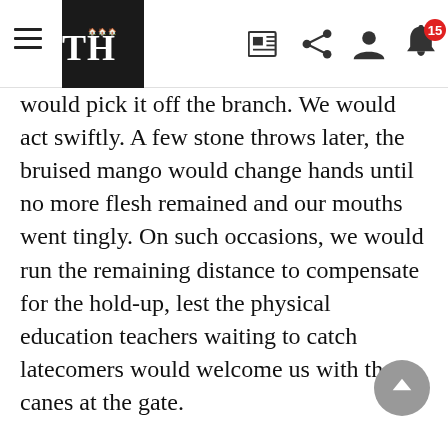The Hindu — navigation header with logo TH, hamburger menu, newspaper icon, share icon, user icon, bell icon with notification badge 15
would pick it off the branch. We would act swiftly. A few stone throws later, the bruised mango would change hands until no more flesh remained and our mouths went tingly. On such occasions, we would run the remaining distance to compensate for the hold-up, lest the physical education teachers waiting to catch latecomers would welcome us with their canes at the gate.
On reaching the campus, we would run to the large water tank fitted with taps around the bottom and sip water from our cupped palms before heading to our classrooms. In the afternoons, when the water tank was crowded, a mischievous one would splash water at the